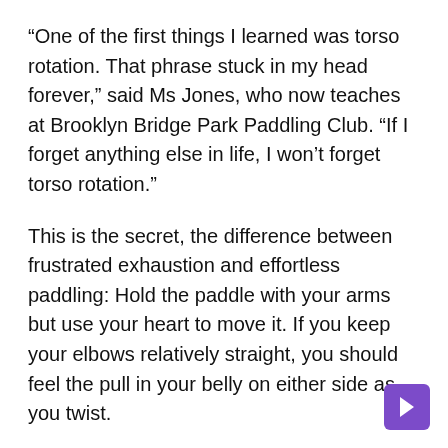“One of the first things I learned was torso rotation. That phrase stuck in my head forever,” said Ms Jones, who now teaches at Brooklyn Bridge Park Paddling Club. “If I forget anything else in life, I won’t forget torso rotation.”
This is the secret, the difference between frustrated exhaustion and effortless paddling: Hold the paddle with your arms but use your heart to move it. If you keep your elbows relatively straight, you should feel the pull in your belly on either side as you twist.
Engaging the legs helps. If you’re paddling right, push off with your right foot on the stakes or pegs to lock in the core, Barton said, while